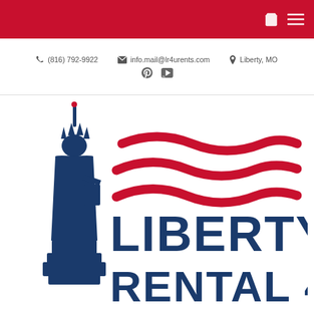Navigation bar with cart and menu icons
(816) 792-9922   info.mail@lr4urents.com   Liberty, MO
[Figure (logo): Liberty Rental 4 U logo featuring a dark blue Statue of Liberty silhouette on the left, three red wavy stripes in the center-right area, and bold dark blue text reading LIBERTY RENTAL 4 U below]